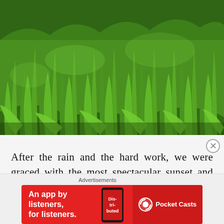[Figure (photo): Close-up photo of lush green grass and weeds growing densely, viewed from ground level after rain]
After the rain and the hard work, we were graced with the most spectacular sunset and the heavy load of the day melted away, piece by piece.
Advertisements
[Figure (other): Advertisement banner for Pocket Casts app — red background with text 'An app by listeners, for listeners.' and Pocket Casts logo, showing a phone with 'Distributed' text]